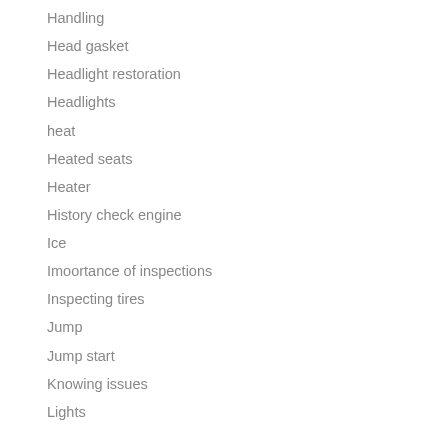Handling
Head gasket
Headlight restoration
Headlights
heat
Heated seats
Heater
History check engine
Ice
Imoortance of inspections
Inspecting tires
Jump
Jump start
Knowing issues
Lights